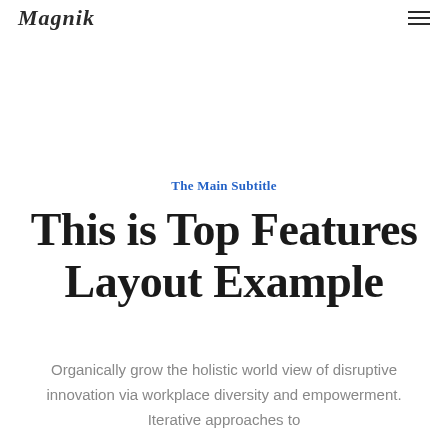Magnik
The Main Subtitle
This is Top Features Layout Example
Organically grow the holistic world view of disruptive innovation via workplace diversity and empowerment. Iterative approaches to